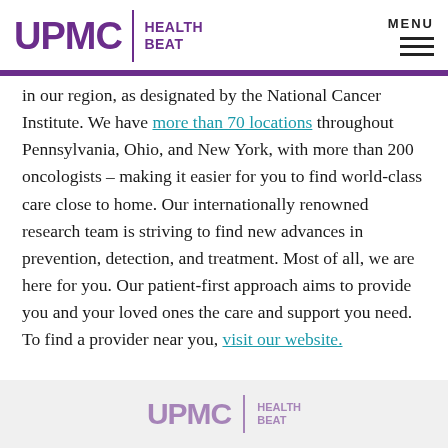UPMC HEALTH BEAT
in our region, as designated by the National Cancer Institute. We have more than 70 locations throughout Pennsylvania, Ohio, and New York, with more than 200 oncologists – making it easier for you to find world-class care close to home. Our internationally renowned research team is striving to find new advances in prevention, detection, and treatment. Most of all, we are here for you. Our patient-first approach aims to provide you and your loved ones the care and support you need. To find a provider near you, visit our website.
UPMC HEALTH BEAT